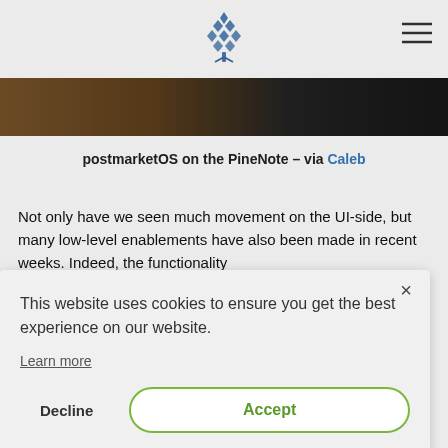PINE64 logo and navigation hamburger menu
[Figure (photo): Dark brown/wooden textured hero image strip at top of article]
postmarketOS on the PineNote – via Caleb
Not only have we seen much movement on the UI-side, but many low-level enablements have also been made in recent weeks. Indeed, the functionality
This website uses cookies to ensure you get the best experience on our website.
Learn more
Decline    Accept
has now been enabled and works in Linux. Given how little time the PineNote has been in active